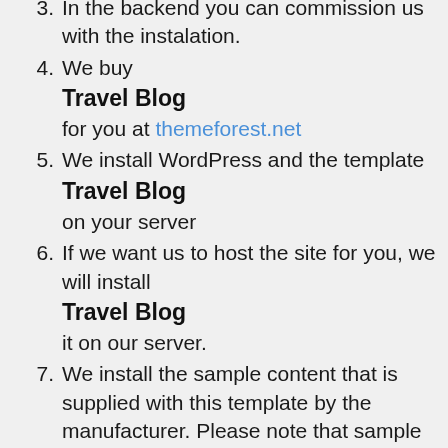3. In the backend you can commission us with the instalation.
4. We buy Travel Blog for you at themeforest.net
5. We install WordPress and the template Travel Blog on your server
6. If we want us to host the site for you, we will install Travel Blog it on our server.
7. We install the sample content that is supplied with this template by the manufacturer. Please note that sample content is almost always English.